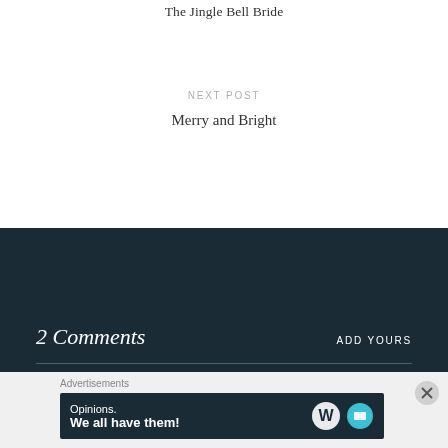The Jingle Bell Bride
NEXT POST
Merry and Bright
2 Comments
ADD YOURS
Advertisements
[Figure (other): Advertisement banner: dark navy background with text 'Opinions. We all have them!' and WordPress logo icons on the right, with a close button overlay]